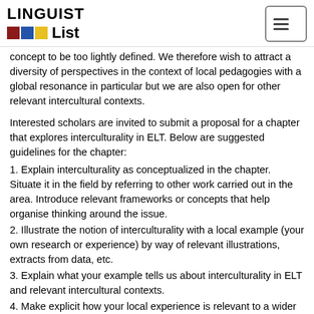LINGUIST List
concept to be too lightly defined. We therefore wish to attract a diversity of perspectives in the context of local pedagogies with a global resonance in particular but we are also open for other relevant intercultural contexts.
Interested scholars are invited to submit a proposal for a chapter that explores interculturality in ELT. Below are suggested guidelines for the chapter:
1. Explain interculturality as conceptualized in the chapter. Situate it in the field by referring to other work carried out in the area. Introduce relevant frameworks or concepts that help organise thinking around the issue.
2. Illustrate the notion of interculturality with a local example (your own research or experience) by way of relevant illustrations, extracts from data, etc.
3. Explain what your example tells us about interculturality in ELT and relevant intercultural contexts.
4. Make explicit how your local experience is relevant to a wider global audience.
The volume is intended to be used on teacher education